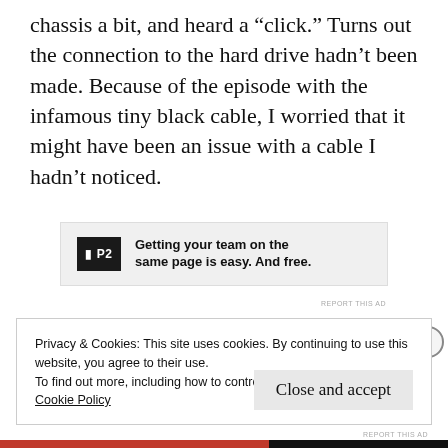chassis a bit, and heard a “click.” Turns out the connection to the hard drive hadn’t been made. Because of the episode with the infamous tiny black cable, I worried that it might have been an issue with a cable I hadn’t noticed.
[Figure (other): Advertisement banner for P2: 'Getting your team on the same page is easy. And free.' with P2 logo on dark background.]
Privacy & Cookies: This site uses cookies. By continuing to use this website, you agree to their use.
To find out more, including how to control cookies, see here:
Cookie Policy
Close and accept